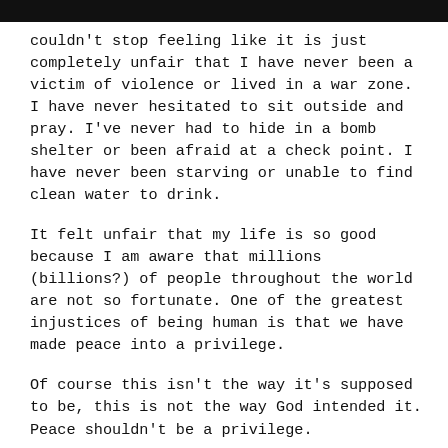couldn't stop feeling like it is just completely unfair that I have never been a victim of violence or lived in a war zone. I have never hesitated to sit outside and pray. I've never had to hide in a bomb shelter or been afraid at a check point. I have never been starving or unable to find clean water to drink.
It felt unfair that my life is so good because I am aware that millions (billions?) of people throughout the world are not so fortunate. One of the greatest injustices of being human is that we have made peace into a privilege.
Of course this isn't the way it's supposed to be, this is not the way God intended it. Peace shouldn't be a privilege.